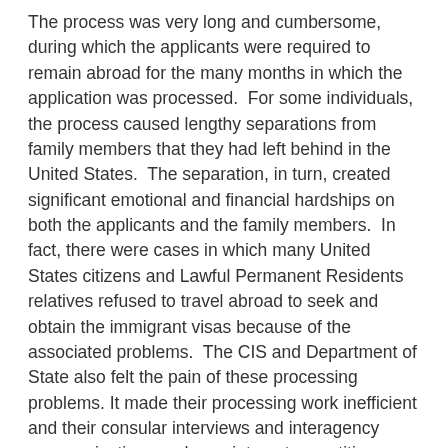The process was very long and cumbersome, during which the applicants were required to remain abroad for the many months in which the application was processed.  For some individuals, the process caused lengthy separations from family members that they had left behind in the United States.  The separation, in turn, created significant emotional and financial hardships on both the applicants and the family members.  In fact, there were cases in which many United States citizens and Lawful Permanent Residents relatives refused to travel abroad to seek and obtain the immigrant visas because of the associated problems.  The CIS and Department of State also felt the pain of these processing problems. It made their processing work inefficient and their consular interviews and interagency communications and appointments repetitious, and resulted in overuse of agency manpower and financial resources.
It was to alleviate these problems that Congress authorized the 2013 unlawful presence provisional waiver under INA Section 212(a)(9)(B)(V).  The waiver is to be filed on a form I-601A.  Under this rule, a person that is a spouse or relative of a United States citizen with a... [continues]